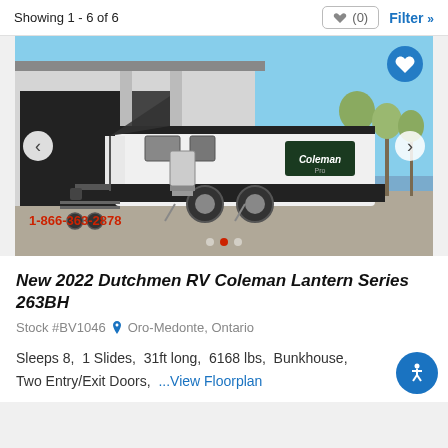Showing 1 - 6 of 6
[Figure (photo): Photo of a 2022 Dutchmen RV Coleman Lantern Series travel trailer parked outside a building with an awning extended. A phone number 1-866-363-2878 appears in red in the lower left corner. Navigation arrows on left and right, heart icon top right, dot indicators at bottom.]
New 2022 Dutchmen RV Coleman Lantern Series 263BH
Stock #BV1046  Oro-Medonte, Ontario
Sleeps 8,  1 Slides,  31ft long,  6168 lbs,  Bunkhouse, Two Entry/Exit Doors,  ...View Floorplan